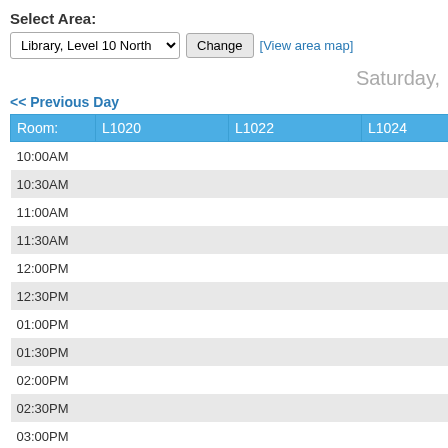Select Area:
Library, Level 10 North  Change  [View area map]
Saturday,
<< Previous Day
| Room: | L1020 | L1022 | L1024 | L1026 |
| --- | --- | --- | --- | --- |
| 10:00AM |  |  |  |  |
| 10:30AM |  |  |  |  |
| 11:00AM |  |  |  |  |
| 11:30AM |  |  |  |  |
| 12:00PM |  |  |  |  |
| 12:30PM |  |  |  |  |
| 01:00PM |  |  |  |  |
| 01:30PM |  |  |  |  |
| 02:00PM |  |  |  | Booked |
| 02:30PM |  |  |  |  |
| 03:00PM |  |  |  |  |
| 03:30PM |  |  |  |  |
| 04:00PM |  |  |  |  |
| 04:30PM |  |  |  |  |
| 05:00PM |  |  |  |  |
<< Previous Day